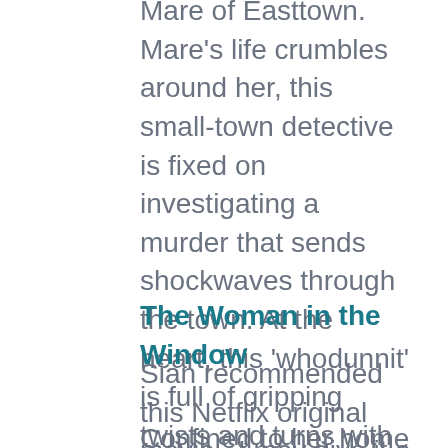Mare of Easttown. Mare's life crumbles around her, this small-town detective is fixed on investigating a murder that sends shockwaves through the town. At the heart, this 'whodunnit' is full of gripping twists and turns with a potential new suspect emerging every episode.  Currently showing on Binge. Watch trailer here
The Woman in the Window
Sian recommended this Netflix original movie.  I may give it a go from behind a cushion
Confined to her home by agoraphobia,